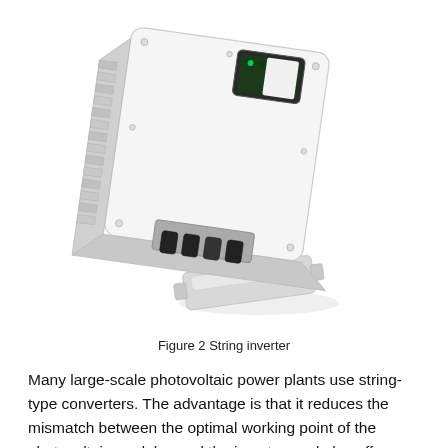[Figure (photo): Photograph of a white string inverter unit shown at an angle, with a small display panel on top and cable connectors at the bottom. Below the main unit is a separate bottom cover/bracket piece. The device appears to be a solar PV string inverter.]
Figure 2 String inverter
Many large-scale photovoltaic power plants use string-type converters. The advantage is that it reduces the mismatch between the optimal working point of the photovoltaic modules and the inverter, and also offers additional